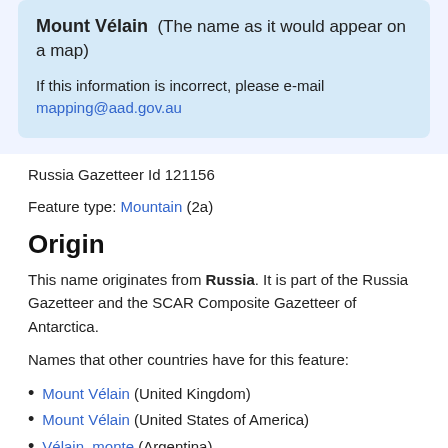Mount Vélain (The name as it would appear on a map)
If this information is incorrect, please e-mail mapping@aad.gov.au
Russia Gazetteer Id 121156
Feature type: Mountain (2a)
Origin
This name originates from Russia. It is part of the Russia Gazetteer and the SCAR Composite Gazetteer of Antarctica.
Names that other countries have for this feature:
Mount Vélain (United Kingdom)
Mount Vélain (United States of America)
Vélain, monte (Argentina)
Vélain, Monte (Chile)